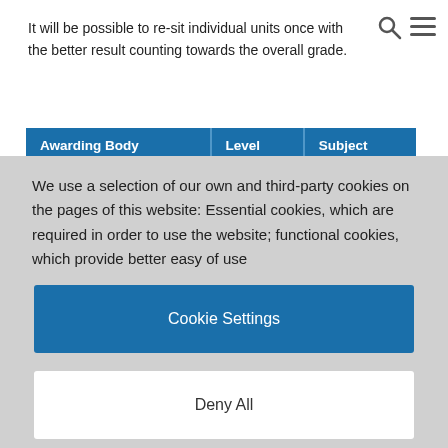It will be possible to re-sit individual units once with the better result counting towards the overall grade.
| Awarding Body | Level | Subject |
| --- | --- | --- |
We use a selection of our own and third-party cookies on the pages of this website: Essential cookies, which are required in order to use the website; functional cookies, which provide better easy of use
Cookie Settings
Deny All
Accept All